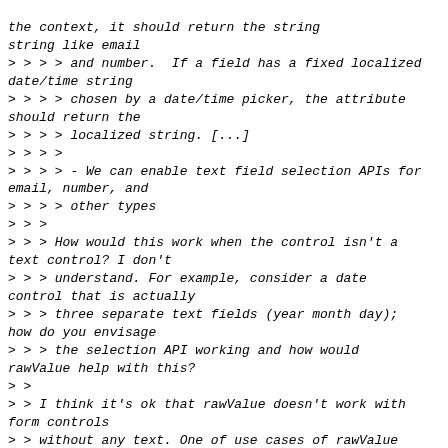the context, it should return the string string like email
> > > > and number.  If a field has a fixed localized date/time string
> > > > chosen by a date/time picker, the attribute should return the
> > > > localized string. [...]
> > > >
> > > > - We can enable text field selection APIs for email, number, and
> > > > other types
> > >
> > > How would this work when the control isn't a text control? I don't
> > > understand. For example, consider a date control that is actually
> > > three separate text fields (year month day); how do you envisage
> > > the selection API working and how would rawValue help with this?
> >
> > I think it's ok that rawValue doesn't work with form controls
> > without any text. One of use cases of rawValue would be to handle
> > user input errors.  I think non-text form controls should be clever
> > enough to avoid bad user input. For example, users can't set bad
> > values to input[type=range].
> >